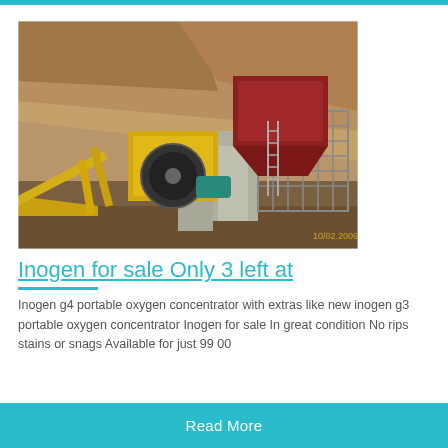[Figure (photo): Industrial mining crushing equipment with yellow conveyor belts and machinery, red hopper/bin structure, concrete supports, set against an earthen hillside. Photo dated 10/02/2009.]
Inogen for sale Only 3 left at
Inogen g4 portable oxygen concentrator with extras like new inogen g3 portable oxygen concentrator Inogen for sale In great condition No rips stains or snags Available for just 99 00
Read More